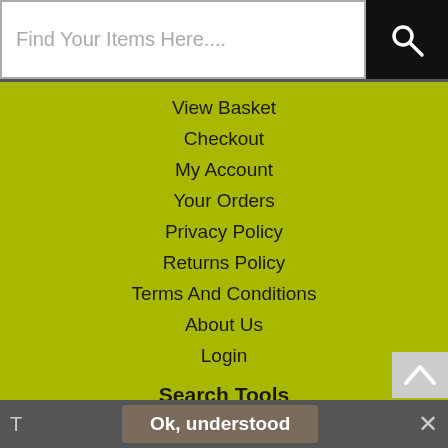[Figure (screenshot): Search bar with placeholder text 'Find Your Items Here....' and a black search button with magnifying glass icon]
View Basket
Checkout
My Account
Your Orders
Privacy Policy
Returns Policy
Terms And Conditions
About Us
Login
Search Tools
Advanced Search
A to Z
T   Ok, understood   ✕